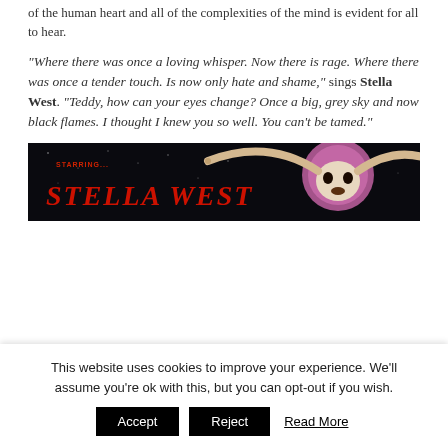of the human heart and all of the complexities of the mind is evident for all to hear.
“Where there was once a loving whisper. Now there is rage. Where there was once a tender touch. Is now only hate and shame,” sings Stella West. “Teddy, how can your eyes change? Once a big, grey sky and now black flames. I thought I knew you so well. You can’t be tamed.”
[Figure (photo): Dark background image with text 'STARRING...' and 'STELLA WEST' in large red lettering, with a longhorn skull graphic on the right side with a pink/purple circular background.]
This website uses cookies to improve your experience. We’ll assume you’re ok with this, but you can opt-out if you wish.